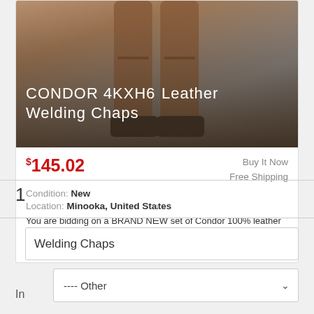[Figure (photo): Product listing image showing CONDOR 4KXH6 Leather Welding Chaps — a person wearing brown leather welding chaps, with gradient overlay and product title text]
$145.02
Buy It Now
Free Shipping
Condition: New
Location: Minooka, United States
You are bidding on a BRAND NEW set of Condor 100% leather welding chaps. 29" inseam- brown leather- closure type snaps on each leg- adjustable waistband ... more
1
Welding Chaps
In  ---- Other